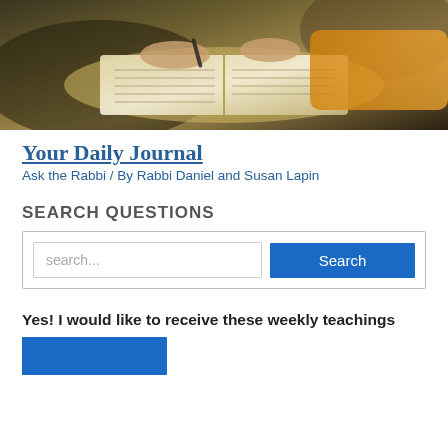[Figure (photo): Hands holding an open book/journal with pen, studying, warm tones]
Your Daily Journal
Ask the Rabbi / By Rabbi Daniel and Susan Lapin
SEARCH QUESTIONS
search... [input field] Search [button]
Yes! I would like to receive these weekly teachings